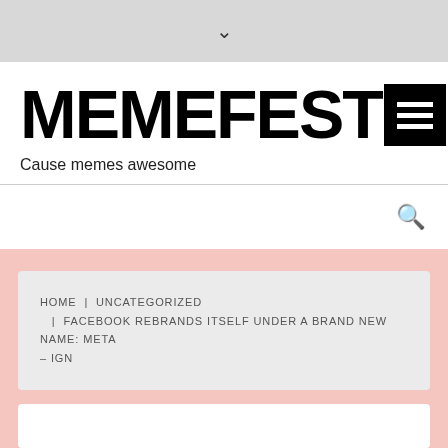▾
MEMEFEST
Cause memes awesome
[Figure (other): Search icon (magnifying glass)]
HOME | UNCATEGORIZED | FACEBOOK REBRANDS ITSELF UNDER A BRAND NEW NAME: META – IGN